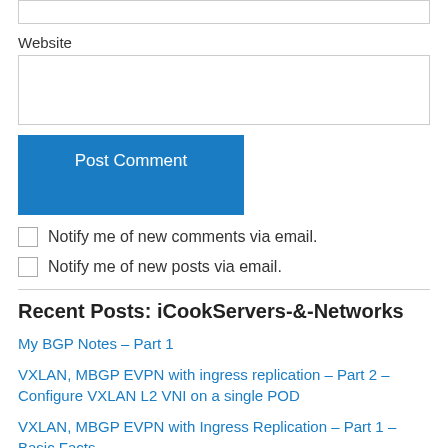[Figure (screenshot): Top of a text input box partially visible at the top of the page]
Website
[Figure (screenshot): Website text input box]
[Figure (screenshot): Post Comment button (blue)]
Notify me of new comments via email.
Notify me of new posts via email.
Recent Posts: iCookServers-&-Networks
My BGP Notes – Part 1
VXLAN, MBGP EVPN with ingress replication – Part 2 – Configure VXLAN L2 VNI on a single POD
VXLAN, MBGP EVPN with Ingress Replication – Part 1 – Basic Facts,